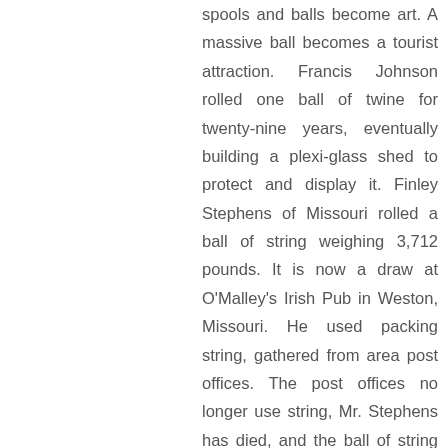spools and balls become art. A massive ball becomes a tourist attraction. Francis Johnson rolled one ball of twine for twenty-nine years, eventually building a plexi-glass shed to protect and display it. Finley Stephens of Missouri rolled a ball of string weighing 3,712 pounds. It is now a draw at O'Malley's Irish Pub in Weston, Missouri. He used packing string, gathered from area post offices. The post offices no longer use string, Mr. Stephens has died, and the ball of string will grow no more.
We may not use string as much as we once did, but when we do there is comfort and familiarity. String has remained relatively unchanged, and I tie a knot just as my mother did, and her mother's mother's mother. Together we form a long line, a string of string users, past, present and future, and we are slowly, inexorably, being rolled into a giant, record-breaking, ball of twine.